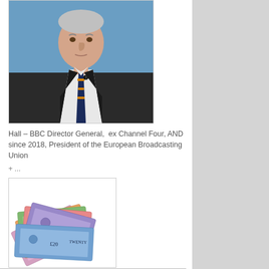[Figure (photo): Portrait photo of a man in a dark suit and patterned tie against a blue background, with a clip-on microphone. He appears to be an older gentleman with light grey/white hair.]
Hall – BBC Director General,  ex Channel Four, AND since 2018, President of the European Broadcasting Union
+ ...
[Figure (photo): A spread of British pound banknotes fanned out on a white background, showing £20 and other denomination notes with the Queen's portrait.]